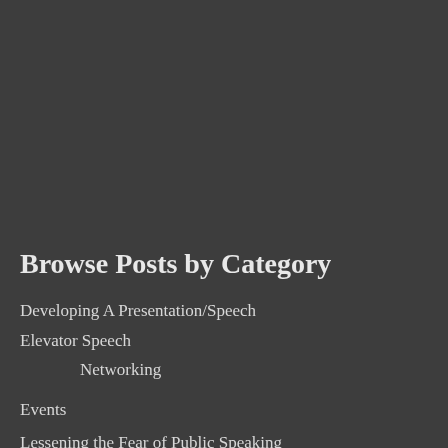Browse Posts by Category
Developing A Presentation/Speech
Elevator Speech
Networking
Events
Lessening the Fear of Public Speaking
Misc.
No Sweat Public Speaking! Podcast